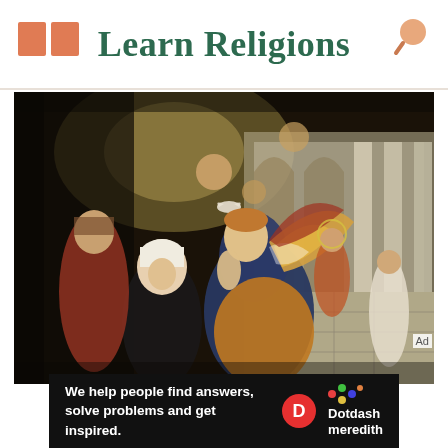Learn Religions
[Figure (illustration): Baroque oil painting depicting an angel with large wings appearing before a nun in a religious scene, set in an arched colonnade. Additional angelic figures are visible above, and a haloed figure appears in the background on the right.]
Ad
We help people find answers, solve problems and get inspired. Dotdash meredith